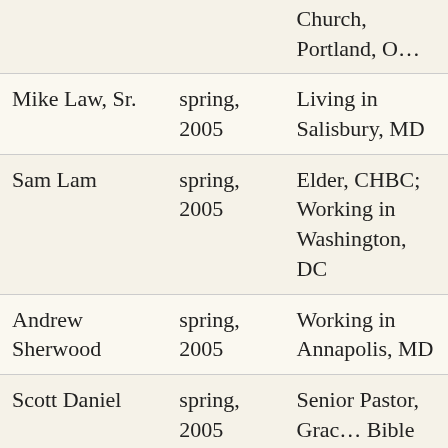| Name | Term | Current Position |
| --- | --- | --- |
| [Church, Portland, O…] |  |  |
| Mike Law, Sr. | spring, 2005 | Living in Salisbury, MD |
| Sam Lam | spring, 2005 | Elder, CHBC; Working in Washington, DC |
| Andrew Sherwood | spring, 2005 | Working in Annapolis, MD |
| Scott Daniel | spring, 2005 | Senior Pastor, Grace Bible Church, Holden, ME |
| Jeff Cavanaugh | fall, 2005 | Working in Louisville, KY |
| Paul Curtis | fall, 2005 | Elder, Redeemer Church of Arlingto… |